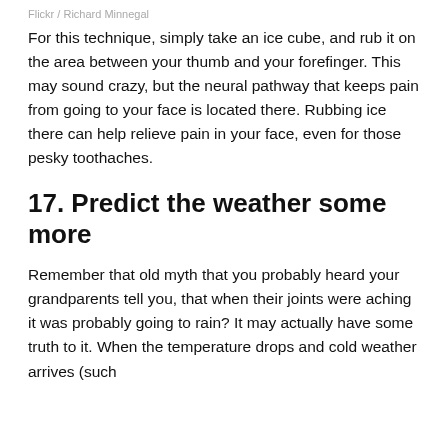Flickr / Richard Minnegal
For this technique, simply take an ice cube, and rub it on the area between your thumb and your forefinger. This may sound crazy, but the neural pathway that keeps pain from going to your face is located there. Rubbing ice there can help relieve pain in your face, even for those pesky toothaches.
17. Predict the weather some more
Remember that old myth that you probably heard your grandparents tell you, that when their joints were aching it was probably going to rain? It may actually have some truth to it. When the temperature drops and cold weather arrives (such as when it's about to rain or when snow comes,)